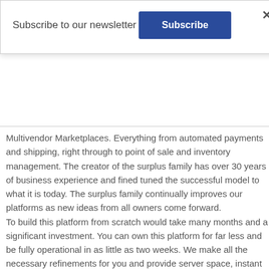Subscribe to our newsletter
Subscribe
Multivendor Marketplaces. Everything from automated payments and shipping, right through to point of sale and inventory management. The creator of the surplus family has over 30 years of business experience and fined tuned the successful model to what it is today. The surplus family continually improves our platforms as new ideas from all owners come forward.
To build this platform from scratch would take many months and a significant investment. You can own this platform for far less and be fully operational in as little as two weeks. We make all the necessary refinements for you and provide server space, instant marketing, SEO, and maintenance services to our entire Surpluscentral.ca business family. Our platforms come with everything required for business success. Don't delay, take advantage of this unique business opportunity today!